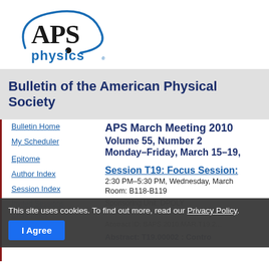[Figure (logo): APS physics logo — blue arc with dot and 'APS' text, 'physics' in blue below]
Bulletin of the American Physical Society
Bulletin Home
My Scheduler
Epitome
Author Index
Session Index
APS March Meeting 2010
Volume 55, Number 2
Monday–Friday, March 15–19,
Session T19: Focus Session:
2:30 PM–5:30 PM, Wednesday, March
Room: B118-B119
Sponsoring Unit: DPOLY
Abstract ID: BAPS.2010.MAR.T19.2
Abstract: T19.00002 : Contro
This site uses cookies. To find out more, read our Privacy Policy.